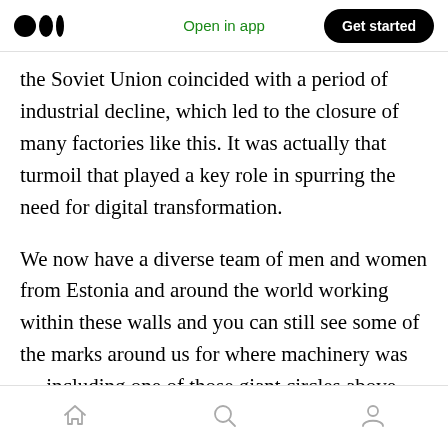Medium logo | Open in app | Get started
the Soviet Union coincided with a period of industrial decline, which led to the closure of many factories like this. It was actually that turmoil that played a key role in spurring the need for digital transformation.
We now have a diverse team of men and women from Estonia and around the world working within these walls and you can still see some of the marks around us for where machinery was — including one of those giant circles above our heads for where the wood chips were pulped.
Home | Search | Profile